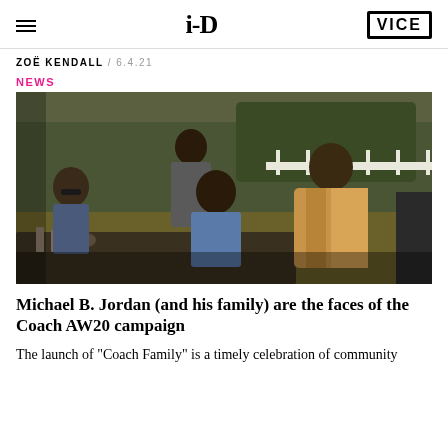i-D | VICE
ZOË KENDALL / 6.4.21
NEWS
[Figure (photo): Group of people gathered outdoors at a table in natural daylight. A man wearing a tan sherpa/teddy coat stands at the right, looking back at the camera. Other people are seated and standing around a table with drinks. Trees and a white fence are visible in the background.]
Michael B. Jordan (and his family) are the faces of the Coach AW20 campaign
The launch of "Coach Family" is a timely celebration of community